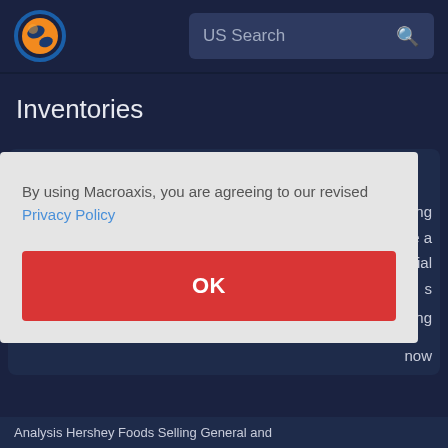[Figure (logo): Macroaxis logo — orange and blue circular globe icon]
US Search
Inventories
Most indicators from Hershey Foods fundamental ratios
By using Macroaxis, you are agreeing to our revised Privacy Policy
OK
Analysis Hershey Foods Selling General and